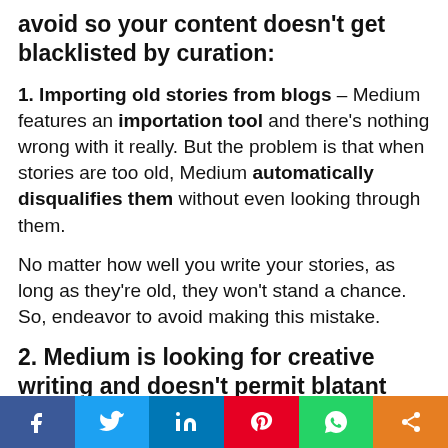avoid so your content doesn't get blacklisted by curation:
1. Importing old stories from blogs – Medium features an importation tool and there's nothing wrong with it really. But the problem is that when stories are too old, Medium automatically disqualifies them without even looking through them.
No matter how well you write your stories, as long as they're old, they won't stand a chance. So, endeavor to avoid making this mistake.
2. Medium is looking for creative writing and doesn't permit blatant
[Figure (infographic): Social sharing bar with icons for Facebook, Twitter, LinkedIn, Pinterest, WhatsApp, and Share]